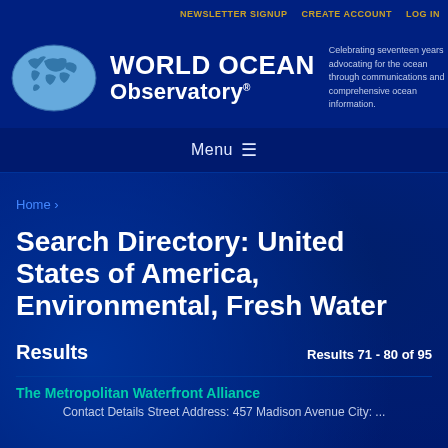NEWSLETTER SIGNUP   CREATE ACCOUNT   LOG IN
[Figure (logo): World Ocean Observatory logo with globe and organization name]
Celebrating seventeen years advocating for the ocean through communications and comprehensive ocean information.
Menu ☰
Home ›
Search Directory: United States of America, Environmental, Fresh Water
Results
Results 71 - 80 of 95
The Metropolitan Waterfront Alliance
Contact Details Street Address:  457 Madison Avenue City:  ...